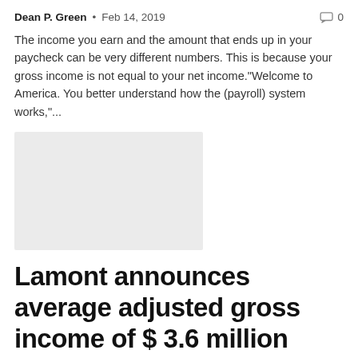Dean P. Green • Feb 14, 2019   🗨 0
The income you earn and the amount that ends up in your paycheck can be very different numbers. This is because your gross income is not equal to your net income."Welcome to America. You better understand how the (payroll) system works,"...
[Figure (photo): Gray placeholder thumbnail image]
Lamont announces average adjusted gross income of $ 3.6 million
Dean P. Green • Oct 19, 2018   🗨 0